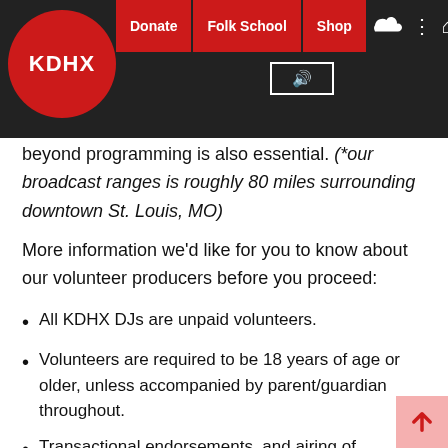KDHX | Donate | Folk School | Shop
beyond programming is also essential. (*our broadcast ranges is roughly 80 miles surrounding downtown St. Louis, MO)
More information we'd like for you to know about our volunteer producers before you proceed:
All KDHX DJs are unpaid volunteers.
Volunteers are required to be 18 years of age or older, unless accompanied by parent/guardian throughout.
Transactional endorsements, and airing of personally owned or interested content is strictly